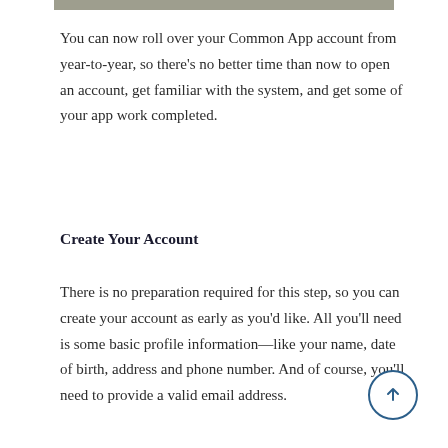You can now roll over your Common App account from year-to-year, so there’s no better time than now to open an account, get familiar with the system, and get some of your app work completed.
Create Your Account
There is no preparation required for this step, so you can create your account as early as you’d like. All you’ll need is some basic profile information—like your name, date of birth, address and phone number. And of course, you’ll need to provide a valid email address.